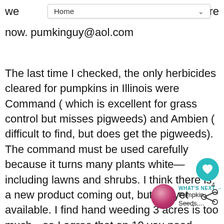Home
we…re now. pumkinguy@aol.com
The last time I checked, the only herbicides cleared for pumpkins in Illinois were Command ( which is excellent for grass control but misses pigweeds) and Ambien ( difficult to find, but does get the pigweeds). The command must be used carefully because it turns many plants white—including lawns and shrubs. I think there is a new product coming out, but not yet available. I find hand weeding 3 acres is too much—so I agree that on 10 you need help. Check with the local Cooperative Extension Service office for recommendations in your area. Many herbicides require a pesticide